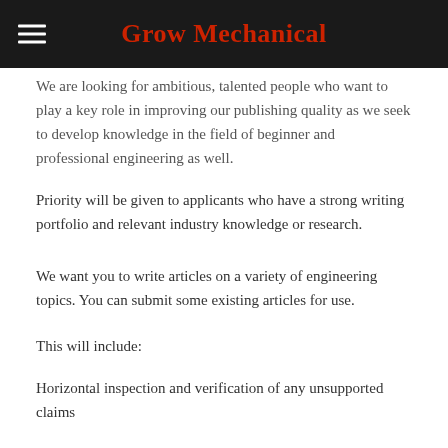Grow Mechanical
We are looking for ambitious, talented people who want to play a key role in improving our publishing quality as we seek to develop knowledge in the field of beginner and professional engineering as well.
Priority will be given to applicants who have a strong writing portfolio and relevant industry knowledge or research.
We want you to write articles on a variety of engineering topics. You can submit some existing articles for use.
This will include:
Horizontal inspection and verification of any unsupported claims
Obtaining and removing obvious cheating